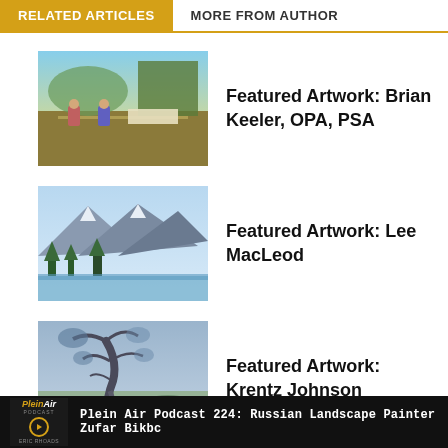RELATED ARTICLES | MORE FROM AUTHOR
[Figure (photo): Painting thumbnail for Brian Keeler article — figures at a table in a landscape]
Featured Artwork: Brian Keeler, OPA, PSA
[Figure (photo): Painting thumbnail for Lee MacLeod article — mountain landscape with lake and trees]
Featured Artwork: Lee MacLeod
[Figure (photo): Painting thumbnail for Krentz Johnson article — twisted tree in landscape]
Featured Artwork: Krentz Johnson
Plein Air Podcast 224: Russian Landscape Painter Zufar Bikbc